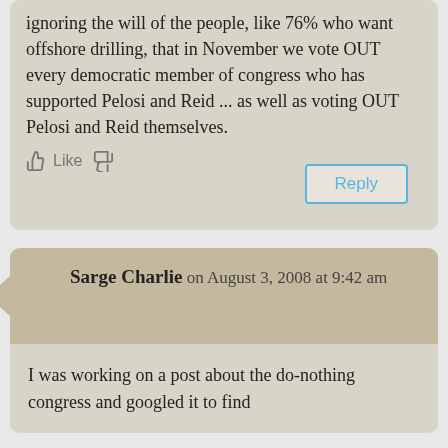ignoring the will of the people, like 76% who want offshore drilling, that in November we vote OUT every democratic member of congress who has supported Pelosi and Reid ... as well as voting OUT Pelosi and Reid themselves.
Like [thumbs up] [thumbs down]
Reply
Sarge Charlie on August 3, 2008 at 9:42 am
I was working on a post about the do-nothing congress and googled it to find